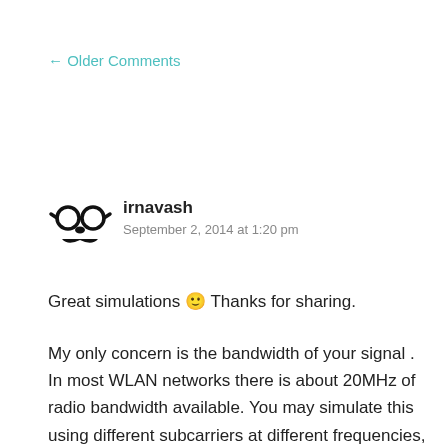← Older Comments
[Figure (illustration): Avatar icon of a face with round glasses and a mustache, black on white]
irnavash
September 2, 2014 at 1:20 pm
Great simulations 🙂 Thanks for sharing.
My only concern is the bandwidth of your signal . In most WLAN networks there is about 20MHz of radio bandwidth available. You may simulate this using different subcarriers at different frequencies, as in OFDM systems. Standard WLAN OFDM supports 52 subcarriers with 312.5KHz subacarrier spacing, i.e. from -26 to +26, avoiding zero,